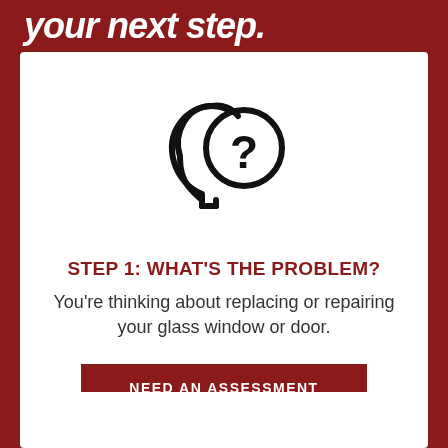your next step.
[Figure (illustration): Icon of a human head silhouette in profile with a question mark circle overlapping the back of the head, rendered in black outline style.]
STEP 1: WHAT'S THE PROBLEM?
You're thinking about replacing or repairing your glass window or door.
NEED AN ASSESSMENT